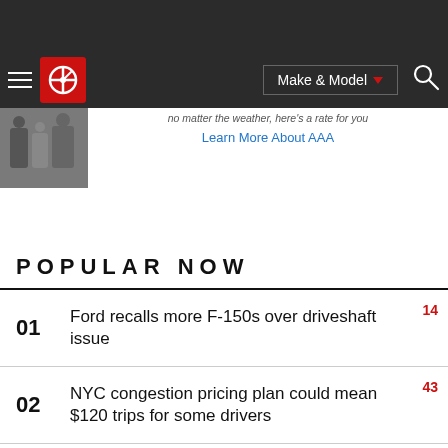Edmunds navigation bar with Make & Model selector and search
[Figure (screenshot): Promotional banner area with AAA insurance advertisement image and Learn More About AAA link]
POPULAR NOW
01  Ford recalls more F-150s over driveshaft issue  14
02  NYC congestion pricing plan could mean $120 trips for some drivers  43